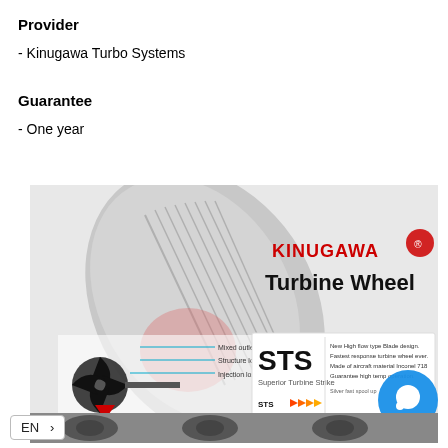Provider
- Kinugawa Turbo Systems
Guarantee
- One year
[Figure (photo): Kinugawa Turbine Wheel product image showing a turbocharger turbine wheel with STS (Superior Turbine Strike) branding, annotated diagram showing mixed outlet loss, structure loss, injection loss at wheel inlet, exhaust gas flow, and a comparison chart between STS and Conventional turbine response. Kinugawa logo with red demon mascot visible. Multiple turbine wheel photos at the bottom.]